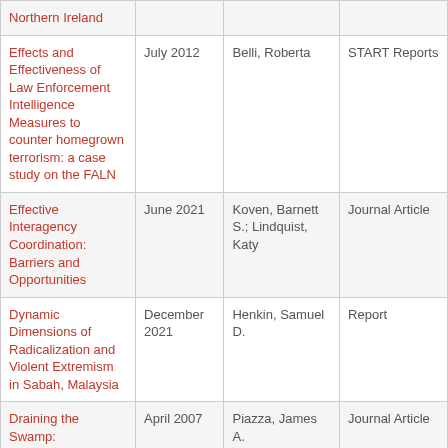| Title | Date | Author | Type |
| --- | --- | --- | --- |
| Northern Ireland |  |  |  |
| Effects and Effectiveness of Law Enforcement Intelligence Measures to counter homegrown terrorism: a case study on the FALN | July 2012 | Belli, Roberta | START Reports |
| Effective Interagency Coordination: Barriers and Opportunities | June 2021 | Koven, Barnett S.; Lindquist, Katy | Journal Article |
| Dynamic Dimensions of Radicalization and Violent Extremism in Sabah, Malaysia | December 2021 | Henkin, Samuel D. | Report |
| Draining the Swamp: | April 2007 | Piazza, James A. | Journal Article |